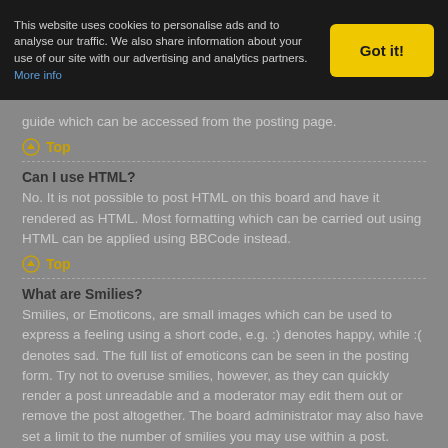This website uses cookies to personalise ads and to analyse our traffic. We also share information about your use of our site with our advertising and analytics partners. More info
Got it!
guide which can be accessed from the posting page.
Top
Can I use HTML?
No. It is not possible to post HTML on this board and have it rendered as HTML. Most formatting which can be carried out using HTML can be applied using BBCode instead.
Top
What are Smilies?
Smilies, or Emoticons, are small images which can be used to express a feeling using a short code, e.g. :) denotes happy, while :( denotes sad. The full list of emoticons can be seen in the posting form. Try not to overuse smilies, however, as they can quickly render a post unreadable and a moderator may edit them out or remove the post altogether. The board administrator may also have set a limit to the number of smilies you may use within a post.
Top